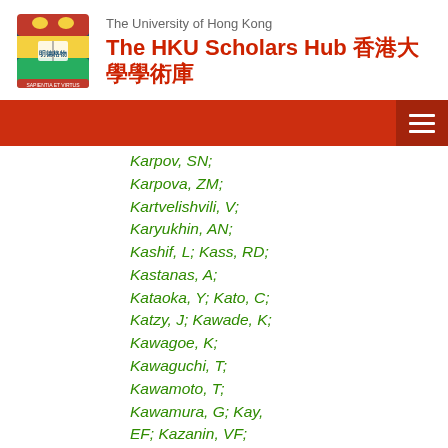The University of Hong Kong — The HKU Scholars Hub 香港大學學術庫
Karpov, SN;
Karpova, ZM;
Kartvelishvili, V;
Karyukhin, AN;
Kashif, L; Kass, RD;
Kastanas, A;
Kataoka, Y; Kato, C;
Katzy, J; Kawade, K;
Kawagoe, K;
Kawaguchi, T;
Kawamoto, T;
Kawamura, G; Kay, EF; Kazanin, VF;
Keeler, R; Kehoe, R;
Keller, JS;
Kellermann, E;
Kempster, JJ;
Kendrick, J; Kepka,